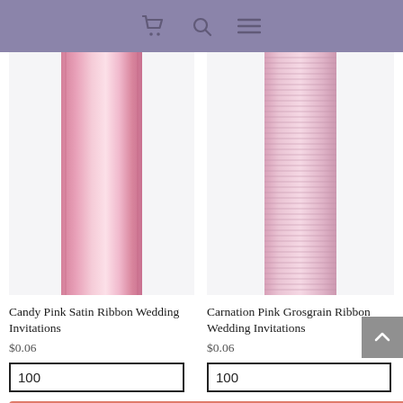shopping cart, search, menu navigation icons
[Figure (photo): Candy Pink Satin Ribbon — a vertical stripe of shiny candy pink satin ribbon on white background]
Candy Pink Satin Ribbon Wedding Invitations
$0.06
100
Add to cart
[Figure (photo): Carnation Pink Grosgrain Ribbon — a vertical stripe of light pink grosgrain ribbon with ribbed texture on white background]
Carnation Pink Grosgrain Ribbon Wedding Invitations
$0.06
100
Add to cart